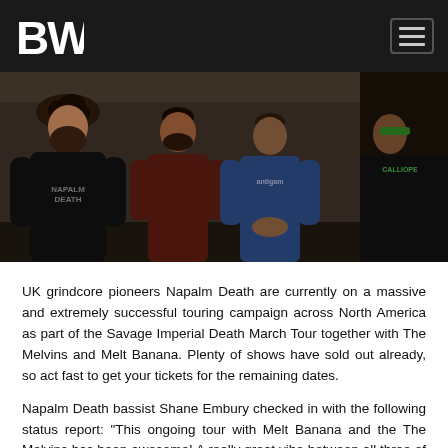BW
[Figure (photo): Band photo of Napalm Death members standing together in a dimly lit indoor space. Members wearing band t-shirts including Napalm Death and Antigam shirts.]
UK grindcore pioneers Napalm Death are currently on a massive and extremely successful touring campaign across North America as part of the Savage Imperial Death March Tour together with The Melvins and Melt Banana. Plenty of shows have sold out already, so act fast to get your tickets for the remaining dates.
Napalm Death bassist Shane Embury checked in with the following status report: "This ongoing tour with Melt Banana and the The Melvins has been awesome! A really great vibe between all three of the bands with a lot of the shows selling out which is great to see. The diversity of the fans and the musical styles of the bands on